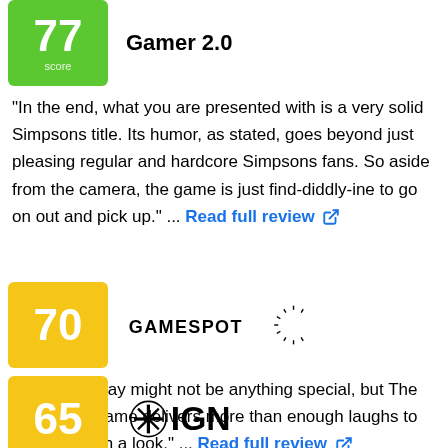77 Gamer 2.0
"In the end, what you are presented with is a very solid Simpsons title. Its humor, as stated, goes beyond just pleasing regular and hardcore Simpsons fans. So aside from the camera, the game is just find-diddly-ine to go on out and pick up." ... Read full review
70 GameSpot
"The gameplay might not be anything special, but The Simpsons Game delivers more than enough laughs to make it worth a look." ... Read full review
65 IGN
"The Simpsons Game on PS2 falls short of its next-gen brethren because of horrific controls that cause unneeded